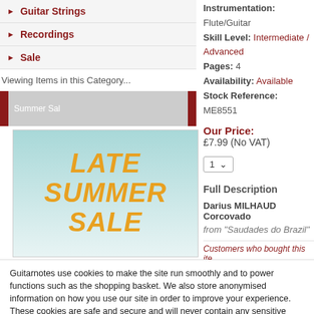Guitar Strings
Recordings
Sale
Viewing Items in this Category...
[Figure (illustration): Late Summer Sale promotional banner with teal gradient background and orange bold italic text reading LATE SUMMER SALE]
Instrumentation: Flute/Guitar
Skill Level: Intermediate / Advanced
Pages: 4
Availability: Available
Stock Reference: ME8551
Our Price: £7.99 (No VAT)
1 (quantity dropdown)
Full Description
Darius MILHAUD
Corcovado
from "Saudades do Brazil"
Customers who bought this ite
Guitarnotes use cookies to make the site run smoothly and to power functions such as the shopping basket. We also store anonymised information on how you use our site in order to improve your experience. These cookies are safe and secure and will never contain any sensitive information. View our privacy policy
Accept & Close